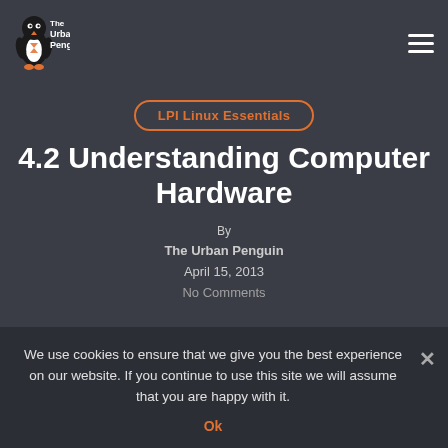[Figure (logo): The Urban Penguin logo - penguin mascot with site name text]
LPI Linux Essentials
4.2 Understanding Computer Hardware
By
The Urban Penguin
April 15, 2013
No Comments
We use cookies to ensure that we give you the best experience on our website. If you continue to use this site we will assume that you are happy with it.
Ok